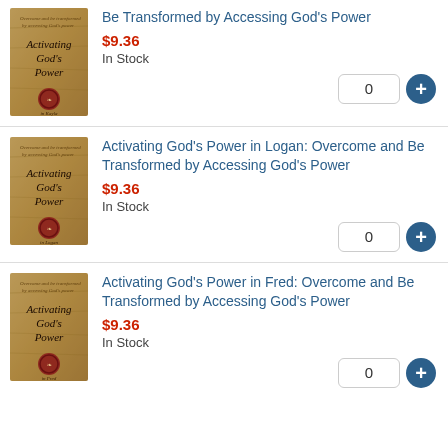[Figure (illustration): Book cover for 'Activating God's Power' (Kayla edition) — aged parchment background with decorative text and wax seal]
Be Transformed by Accessing God's Power
$9.36
In Stock
[Figure (illustration): Book cover for 'Activating God's Power' (Logan edition) — aged parchment background with decorative text and wax seal]
Activating God's Power in Logan: Overcome and Be Transformed by Accessing God's Power
$9.36
In Stock
[Figure (illustration): Book cover for 'Activating God's Power' (Fred edition) — aged parchment background with decorative text and wax seal]
Activating God's Power in Fred: Overcome and Be Transformed by Accessing God's Power
$9.36
In Stock